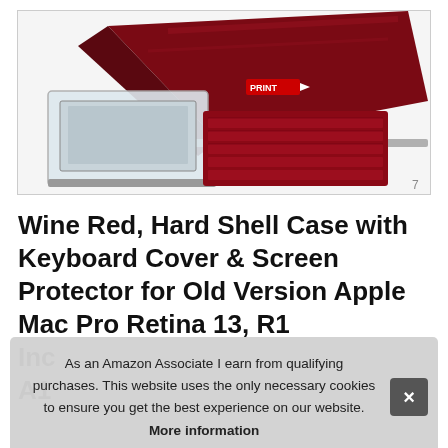[Figure (photo): Product photo showing a wine red hard shell MacBook case, keyboard cover (red), and screen protector displayed together]
Wine Red, Hard Shell Case with Keyboard Cover & Screen Protector for Old Version Apple Mac Pro Retina 13, R1... Inc... A1...
As an Amazon Associate I earn from qualifying purchases. This website uses the only necessary cookies to ensure you get the best experience on our website. More information